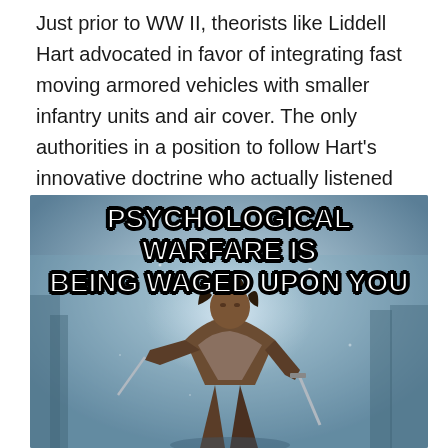Just prior to WW II, theorists like Liddell Hart advocated in favor of integrating fast moving armored vehicles with smaller infantry units and air cover. The only authorities in a position to follow Hart's innovative doctrine who actually listened were members of the German High Command.
[Figure (illustration): A meme image showing a fantasy warrior in armor running forward holding weapons, with text overlay reading 'PSYCHOLOGICAL WARFARE IS BEING WAGED UPON YOU' in bold white letters with black outline. Background is a misty blue-grey battlefield scene.]